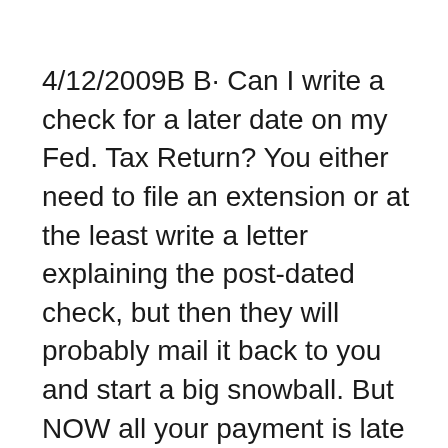4/12/2009B B· Can I write a check for a later date on my Fed. Tax Return? You either need to file an extension or at the least write a letter explaining the post-dated check, but then they will probably mail it back to you and start a big snowball. But NOW all your payment is late and can incur penalties and interest. They may waive the penalty, but What are the payment terms L C or PDC or CDC? PDC - post dated cheque. CDC - current dated cheque. You should check with your c 13 trustee. In general you can make a partial payment, but